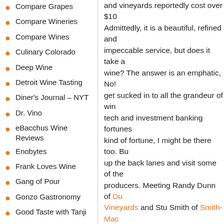Compare Grapes
Compare Wineries
Compare Wines
Culinary Colorado
Deep Wine
Detroit Wine Tasting
Diner's Journal – NYT
Dr. Vino
eBacchus Wine Reviews
Enobytes
Frank Loves Wine
Gang of Pour
Gonzo Gastronomy
Good Taste with Tanji
Good Wine Under $20
Grapelines – Reviews
Grapes of Life
Hosemaster of Wine
In the glass
Independent Media
and vineyards reportedly cost over $10... Admittedly, it is a beautiful, refined and impeccable service, but does it take all wine? The answer is an emphatic, No! get sucked in to all the grandeur of wine tech and investment banking fortunes kind of fortune, I might be there too. Bu up the back lanes and visit some of the producers. Meeting Randy Dunn of Dunn Vineyards and Stu Smith of Smith-Mad pioneers from the '70's, in their older, s quaint facilities was the highlight of this behind them, produce consistently awe producers with smaller budgets. We ha Family Wines who literally create their
4. The Passion Remains
I am passionate about passionate peo about their work, their art and their lifes